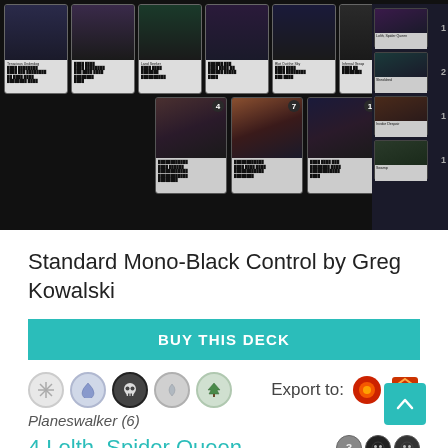[Figure (screenshot): Screenshot of a Magic: The Gathering online deck builder showing multiple black-bordered cards arranged in rows against a dark background, with a sidebar showing card counts on the right.]
Standard Mono-Black Control by Greg Kowalski
BUY THIS DECK
[Figure (illustration): Row of 5 mana color icons (white starburst, blue drop, black skull, colorless swirl, green tree) followed by Export to: with two app icons (MTGO and Arena)]
Planeswalker (6)
4 Lolth, Spider Queen